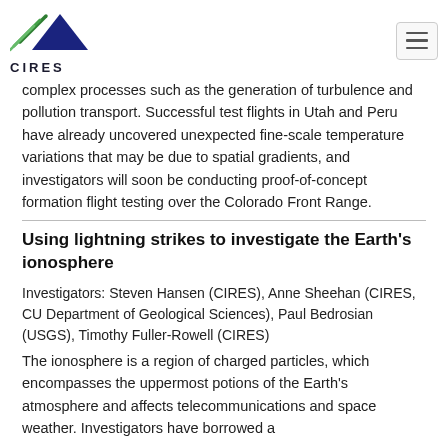CIRES
complex processes such as the generation of turbulence and pollution transport. Successful test flights in Utah and Peru have already uncovered unexpected fine-scale temperature variations that may be due to spatial gradients, and investigators will soon be conducting proof-of-concept formation flight testing over the Colorado Front Range.
Using lightning strikes to investigate the Earth's ionosphere
Investigators: Steven Hansen (CIRES), Anne Sheehan (CIRES, CU Department of Geological Sciences), Paul Bedrosian (USGS), Timothy Fuller-Rowell (CIRES)
The ionosphere is a region of charged particles, which encompasses the uppermost potions of the Earth's atmosphere and affects telecommunications and space weather. Investigators have borrowed a